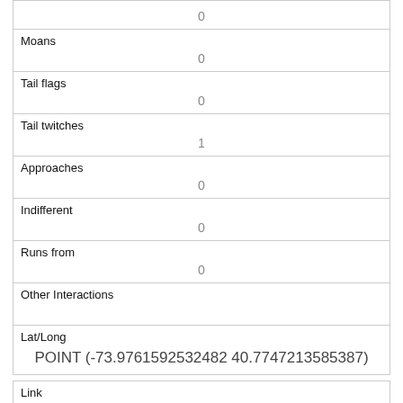| (label cut off) | 0 |
| Moans | 0 |
| Tail flags | 0 |
| Tail twitches | 1 |
| Approaches | 0 |
| Indifferent | 0 |
| Runs from | 0 |
| Other Interactions |  |
| Lat/Long | POINT (-73.9761592532482 40.7747213585387) |
| Link | 104 |